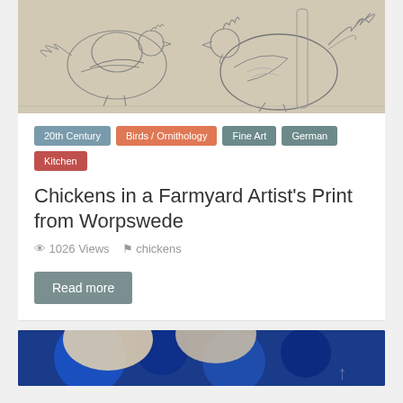[Figure (illustration): Pencil/ink drawing of chickens and a rooster in a farmyard, sepia/gray tones on beige background]
20th Century
Birds / Ornithology
Fine Art
German
Kitchen
Chickens in a Farmyard Artist's Print from Worpswede
1026 Views   chickens
Read more
[Figure (photo): Abstract blue and beige circular shapes, bottom of page, partially visible]